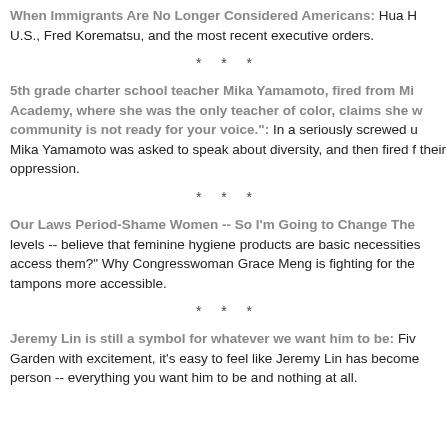When Immigrants Are No Longer Considered Americans: Hua H U.S., Fred Korematsu, and the most recent executive orders.
* * *
5th grade charter school teacher Mika Yamamoto, fired from Mi Academy, where she was the only teacher of color, claims she w community is not ready for your voice.": In a seriously screwed u Mika Yamamoto was asked to speak about diversity, and then fired f their oppression.
* * *
Our Laws Period-Shame Women -- So I'm Going to Change The levels -- believe that feminine hygiene products are basic necessities access them?" Why Congresswoman Grace Meng is fighting for the tampons more accessible.
* * *
Jeremy Lin is still a symbol for whatever we want him to be: Fiv Garden with excitement, it's easy to feel like Jeremy Lin has become person -- everything you want him to be and nothing at all.